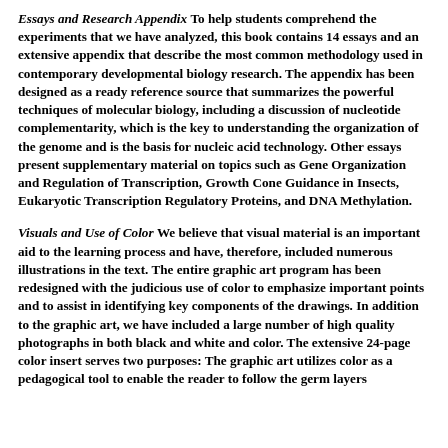Essays and Research Appendix To help students comprehend the experiments that we have analyzed, this book contains 14 essays and an extensive appendix that describe the most common methodology used in contemporary developmental biology research. The appendix has been designed as a ready reference source that summarizes the powerful techniques of molecular biology, including a discussion of nucleotide complementarity, which is the key to understanding the organization of the genome and is the basis for nucleic acid technology. Other essays present supplementary material on topics such as Gene Organization and Regulation of Transcription, Growth Cone Guidance in Insects, Eukaryotic Transcription Regulatory Proteins, and DNA Methylation.
Visuals and Use of Color We believe that visual material is an important aid to the learning process and have, therefore, included numerous illustrations in the text. The entire graphic art program has been redesigned with the judicious use of color to emphasize important points and to assist in identifying key components of the drawings. In addition to the graphic art, we have included a large number of high quality photographs in both black and white and color. The extensive 24-page color insert serves two purposes: The graphic art utilizes color as a pedagogical tool to enable the reader to follow the germ layers